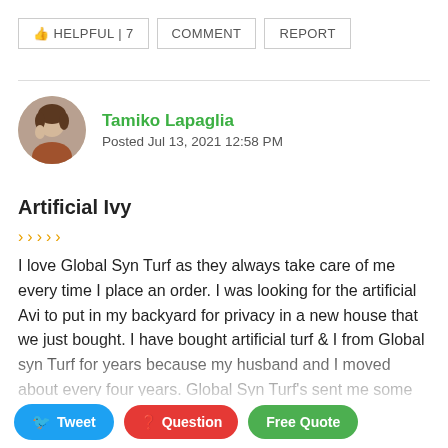👍 HELPFUL | 7   COMMENT   REPORT
Tamiko Lapaglia
Posted Jul 13, 2021 12:58 PM
Artificial Ivy
I love Global Syn Turf as they always take care of me every time I place an order. I was looking for the artificial Avi to put in my backyard for privacy in a new house that we just bought. I have bought artificial turf & I from Global syn Turf for years because my husband and I moved about every four years. Global Syn Turf's sent me some samples of the artificial Avi and I hung them on my sand to see which one that I liked and I ended up going with a Hawthorn home. If you have not seen this artificial Avi, here's what it's for you. Global Syn Turf look under product. Now the Avi is beautiful per product link for me I love
Tweet   Question   Free Quote